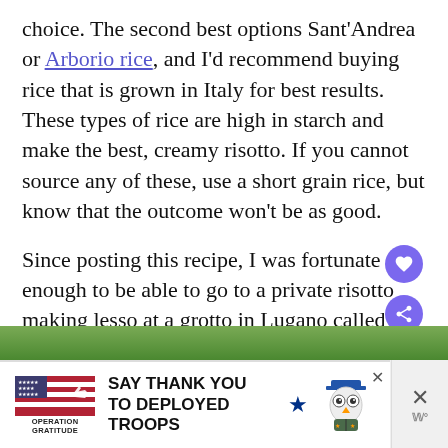choice. The second best options Sant'Andrea or Arborio rice, and I'd recommend buying rice that is grown in Italy for best results. These types of rice are high in starch and make the best, creamy risotto. If you cannot source any of these, use a short grain rice, but know that the outcome won't be as good.
Since posting this recipe, I was fortunate enough to be able to go to a private risotto making lesson at a grotto in Lugano called Cruise and Cook... about an incredible experience!
[Figure (screenshot): Web UI overlay: heart/save button (purple circle), share button (purple circle with share icon), and 'What's Next' widget showing a thumbnail of a dish and text 'Fettuccine with...']
[Figure (photo): Partial photo strip visible at bottom of page, showing green landscape/nature scene]
[Figure (screenshot): Advertisement banner: Operation Gratitude logo with star, text 'SAY THANK YOU TO DEPLOYED TROOPS', cartoon owl illustration, close buttons]